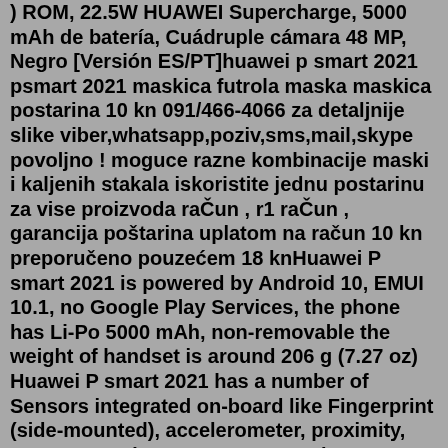) ROM, 22.5W HUAWEI Supercharge, 5000 mAh de batería, Cuádruple cámara 48 MP, Negro [Versión ES/PT]huawei p smart 2021 psmart 2021 maskica futrola maska maskica postarina 10 kn 091/466-4066 za detaljnije slike viber,whatsapp,poziv,sms,mail,skype povoljno ! moguce razne kombinacije maski i kaljenih stakala iskoristite jednu postarinu za vise proizvoda raČun , r1 raČun , garancija poštarina uplatom na račun 10 kn preporučeno pouzećem 18 knHuawei P smart 2021 is powered by Android 10, EMUI 10.1, no Google Play Services, the phone has Li-Po 5000 mAh, non-removable the weight of handset is around 206 g (7.27 oz) Huawei P smart 2021 has a number of Sensors integrated on-board like Fingerprint (side-mounted), accelerometer, proximity, compass and 5.416,52 TL Huawei P Smart 2021, 6.67 inç ekran genişliğinin yanı sıra 1080x2400 piksel ekran çözünürlüğü sayesinde muhteşem görüntü kalitesine sahiptir. 4 GB RAM'i ile arka planda çalışan uygulamalar işinizi